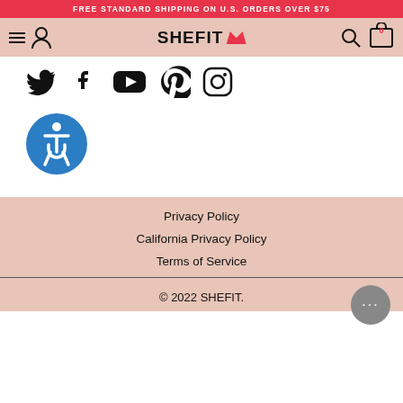FREE STANDARD SHIPPING ON U.S. ORDERS OVER $75
[Figure (screenshot): Navigation bar with hamburger menu, user icon, SHEFIT logo with crown, search icon, and cart icon with 0 items]
[Figure (infographic): Social media icons: Twitter, Facebook, YouTube, Pinterest, Instagram]
[Figure (infographic): Accessibility icon - blue circle with wheelchair symbol]
Privacy Policy
California Privacy Policy
Terms of Service
© 2022 SHEFIT.